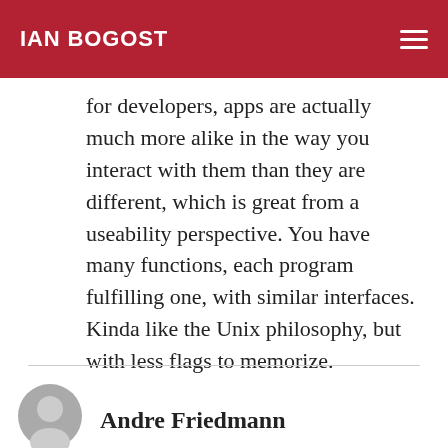IAN BOGOST
for developers, apps are actually much more alike in the way you interact with them than they are different, which is great from a useability perspective. You have many functions, each program fulfilling one, with similar interfaces. Kinda like the Unix philosophy, but with less flags to memorize.
Andre Friedmann